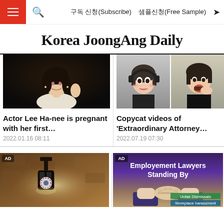구독 신청(Subscribe)   샘플신청(Free Sample)
Korea JoongAng Daily
[Figure (photo): Actor Lee Ha-nee waving at event in black dress]
Actor Lee Ha-nee is pregnant with her first…
2022.01.16 08:11
[Figure (photo): Two photos of a woman, one with headphones and one eating food]
Copycat videos of 'Extraordinary Attorney…
2022.07.19 07:30
[Figure (photo): AD: Outdoor lamp with security camera bulb on stone wall]
[Figure (photo): AD: Employment Lawyers Standing By - people shaking hands]